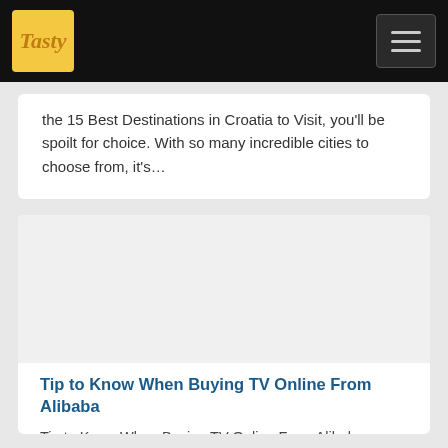Tasty
the 15 Best Destinations in Croatia to Visit, you'll be spoilt for choice. With so many incredible cities to choose from, it's…
[Figure (photo): Blank image placeholder for article thumbnail]
Tip to Know When Buying TV Online From Alibaba
Tip to Know When Buying TV Online From Alibaba Before you buy a TV online from Alibaba, you should know about certain factors that influence your purchase. Before you choose th…